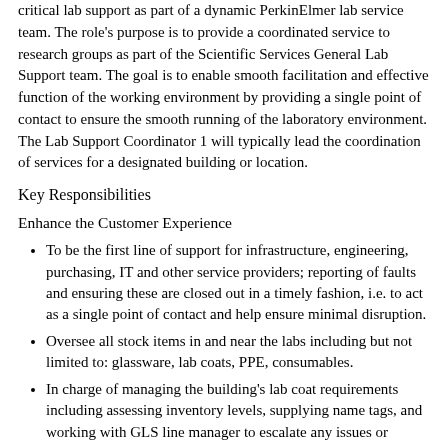critical lab support as part of a dynamic PerkinElmer lab service team. The role's purpose is to provide a coordinated service to research groups as part of the Scientific Services General Lab Support team. The goal is to enable smooth facilitation and effective function of the working environment by providing a single point of contact to ensure the smooth running of the laboratory environment. The Lab Support Coordinator 1 will typically lead the coordination of services for a designated building or location.
Key Responsibilities
Enhance the Customer Experience
To be the first line of support for infrastructure, engineering, purchasing, IT and other service providers; reporting of faults and ensuring these are closed out in a timely fashion, i.e. to act as a single point of contact and help ensure minimal disruption.
Oversee all stock items in and near the labs including but not limited to: glassware, lab coats, PPE, consumables.
In charge of managing the building's lab coat requirements including assessing inventory levels, supplying name tags, and working with GLS line manager to escalate any issues or changes with the vendor.
Meet regularly with laboratory service providers to ensure...